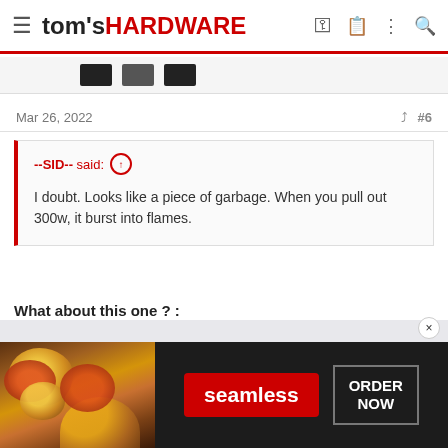tom's HARDWARE
Mar 26, 2022  #6
--SID-- said: ↑
I doubt. Looks like a piece of garbage. When you pull out 300w, it burst into flames.
What about this one ? :
https://www.tunisianet.com.tn/boite-d-alimentation/49006-boite-d-alimentation-enter-500w.html
[Figure (screenshot): Seamless food delivery advertisement banner with pizza image, red Seamless logo button, and ORDER NOW button on dark background]